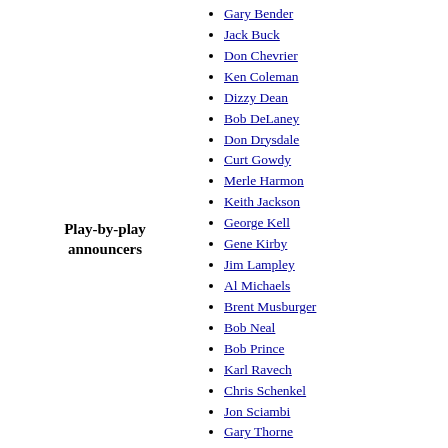Play-by-play announcers
Gary Bender
Jack Buck
Don Chevrier
Ken Coleman
Dizzy Dean
Bob DeLaney
Don Drysdale
Curt Gowdy
Merle Harmon
Keith Jackson
George Kell
Gene Kirby
Jim Lampley
Al Michaels
Brent Musburger
Bob Neal
Bob Prince
Karl Ravech
Chris Schenkel
Jon Sciambi
Gary Thorne
Pete Van Wieren
Matt Vasgersian
Jack Whitaker